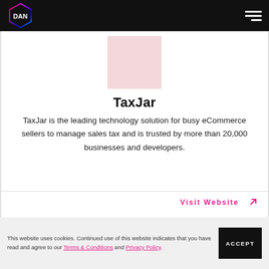DAN
[Figure (logo): TaxJar logo placeholder - pink/rose square]
TaxJar
TaxJar is the leading technology solution for busy eCommerce sellers to manage sales tax and is trusted by more than 20,000 businesses and developers.
Visit Website ↗
This website uses cookies. Continued use of this website indicates that you have read and agree to our Terms & Conditions and Privacy Policy.